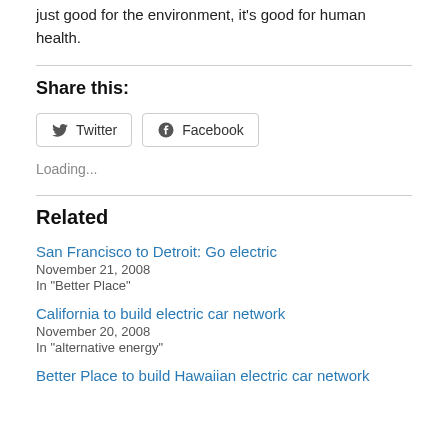just good for the environment, it's good for human health.
Share this:
[Figure (other): Twitter and Facebook share buttons]
Loading...
Related
San Francisco to Detroit: Go electric
November 21, 2008
In "Better Place"
California to build electric car network
November 20, 2008
In "alternative energy"
Better Place to build Hawaiian electric car network